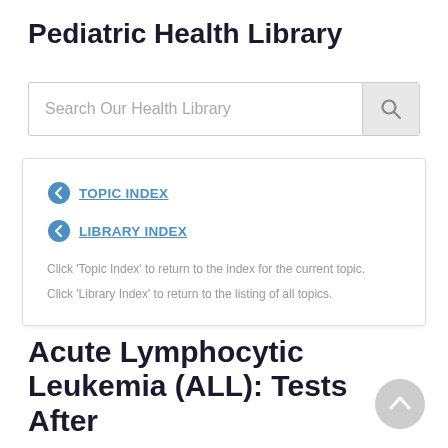Pediatric Health Library
[Figure (other): Search bar with placeholder text 'Search Our Health Library' and a magnifying glass search button on the right]
TOPIC INDEX
LIBRARY INDEX
Click 'Topic Index' to return to the index for the current topic.
Click 'Library Index' to return to the listing of all topics.
Acute Lymphocytic Leukemia (ALL): Tests After